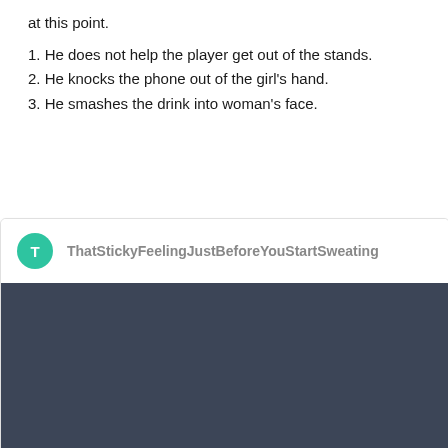at this point.
1. He does not help the player get out of the stands.
2. He knocks the phone out of the girl's hand.
3. He smashes the drink into woman's face.
[Figure (screenshot): A social media post card with a teal avatar showing letter T and username ThatStickyFeelingJustBeforeYouStartSweating, followed by a dark gray image area.]